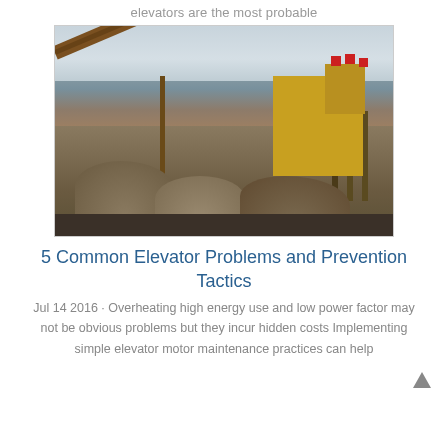elevators are the most probable
[Figure (photo): Industrial mining conveyor belt and crushing machine at an outdoor quarry/mining site with dirt piles and overcast sky]
5 Common Elevator Problems and Prevention Tactics
Jul 14 2016 · Overheating high energy use and low power factor may not be obvious problems but they incur hidden costs Implementing simple elevator motor maintenance practices can help